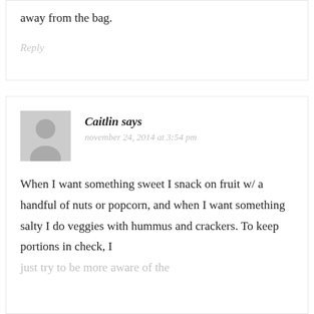away from the bag.
Reply
Caitlin says
november 24, 2014 at 3:54 pm
When I want something sweet I snack on fruit w/ a handful of nuts or popcorn, and when I want something salty I do veggies with hummus and crackers. To keep portions in check, I just try to be more aware of the